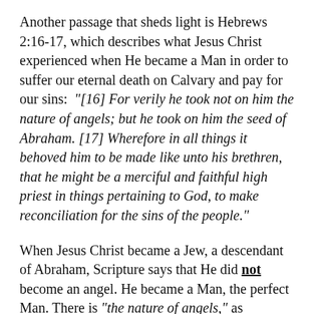Another passage that sheds light is Hebrews 2:16-17, which describes what Jesus Christ experienced when He became a Man in order to suffer our eternal death on Calvary and pay for our sins: "[16] For verily he took not on him the nature of angels; but he took on him the seed of Abraham. [17] Wherefore in all things it behoved him to be made like unto his brethren, that he might be a merciful and faithful high priest in things pertaining to God, to make reconciliation for the sins of the people."
When Jesus Christ became a Jew, a descendant of Abraham, Scripture says that He did not become an angel. He became a Man, the perfect Man. There is "the nature of angels," as Hebrews 2:16 says above, and there is "the seed of Abraham." Thus, we see another clear distinction between angels and humans in God's Holy Word. This difference is delineated in